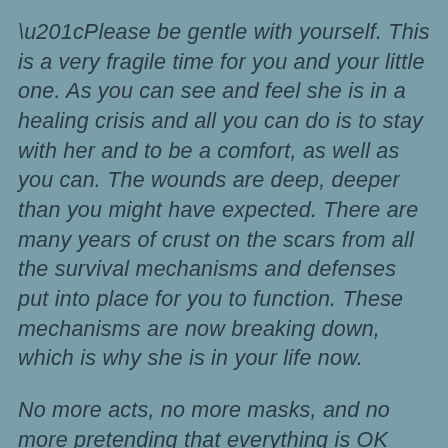“Please be gentle with yourself. This is a very fragile time for you and your little one. As you can see and feel she is in a healing crisis and all you can do is to stay with her and to be a comfort, as well as you can. The wounds are deep, deeper than you might have expected. There are many years of crust on the scars from all the survival mechanisms and defenses put into place for you to function. These mechanisms are now breaking down, which is why she is in your life now.

No more acts, no more masks, and no more pretending that everything is OK and you’re strong and tough! This must all collapse, uncovering the bareness of you and only you. Did you not think that there was really a you underneath all of this